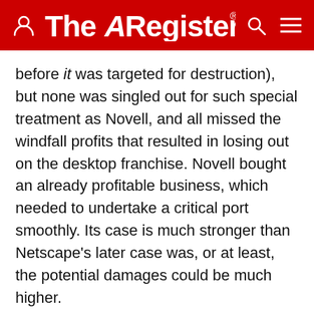The Register
before it was targeted for destruction), but none was singled out for such special treatment as Novell, and all missed the windfall profits that resulted in losing out on the desktop franchise. Novell bought an already profitable business, which needed to undertake a critical port smoothly. Its case is much stronger than Netscape's later case was, or at least, the potential damages could be much higher.
It's a shame that District Court judges simply assume that the advance of technology brings with it progress, and don't take aesthetic or even utilitarian considerations into account. We were going to conclude with a cheap gag about WordPerfect for Windows'